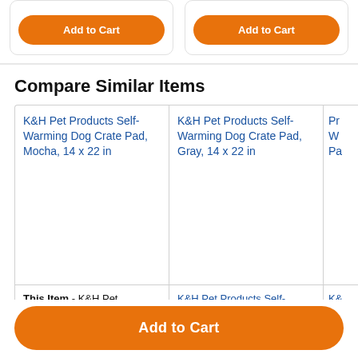Compare Similar Items
| Item 1 | Item 2 | Item 3 (partial) |
| --- | --- | --- |
| K&H Pet Products Self-Warming Dog Crate Pad, Mocha, 14 x 22 in | K&H Pet Products Self-Warming Dog Crate Pad, Gray, 14 x 22 in | Pr... Wa... Pa... |
| This Item - K&H Pet Products Self-Warming Dog Crate Pad, Mocha, 14 x 22 in | K&H Pet Products Self-Warming Dog Crate Pad, Gray, 14 x 22 in | K&... Se... Cra... 22... |
Add to Cart